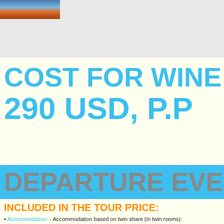[Figure (photo): Partial photo of a travel destination scene, cropped at top-left corner]
COST FOR WINE T... 290 USD, P.P
DEPARTURE EVER...
INCLUDED IN THE TOUR PRICE:
Accommodation: - Accommodation based on twin share (in twin rooms):
-3 nights standard Hotel 3* star approx.